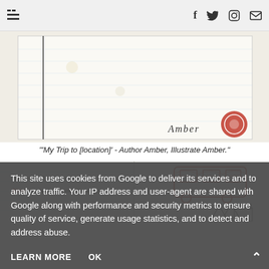Navigation bar with hamburger menu and social icons: f (Facebook), Twitter, Instagram, email
[Figure (illustration): Child's hand-drawn book page showing a lined paper with the name 'Amber' written at the bottom and a red circular logo/stamp in the bottom right corner. The drawing appears to be a cover or title page of a child's story book.]
"'My Trip to [location]' - Author Amber, Illustrate Amber."
[Figure (illustration): Child's hand-drawn story pages showing two panels side by side. Left panel shows handwritten text: 'We went DB in Coach to First we had a puppet Show. Next'. Right panel shows a red crayon drawing of a bus/coach and below it mountains and a castle-like structure.]
This site uses cookies from Google to deliver its services and to analyze traffic. Your IP address and user-agent are shared with Google along with performance and security metrics to ensure quality of service, generate usage statistics, and to detect and address abuse.
LEARN MORE   OK